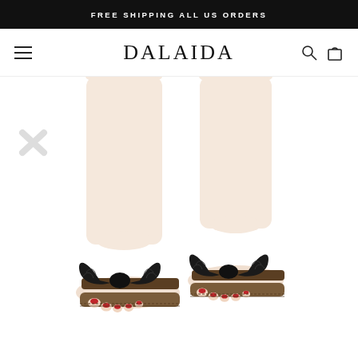FREE SHIPPING ALL US ORDERS
DALAIDA
[Figure (photo): Two legs of a woman wearing black bow-tie flat sandals with open toe, standing on a white background. The sandals feature a large black fabric bow detail on the front strap and a woven/braided sole. Toenails are painted red.]